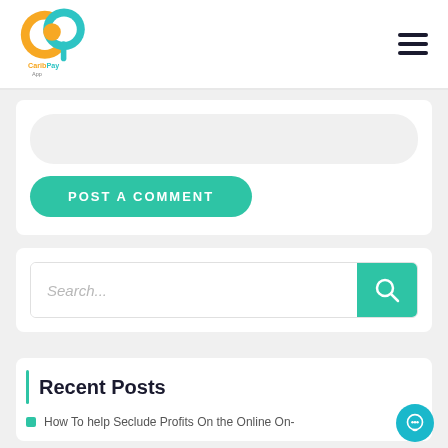[Figure (logo): Carib Pay App logo — orange and teal interlocked C and P letters with 'Carib Pay App' text]
[Figure (other): Hamburger menu icon — three horizontal dark lines]
Post A Comment
[Figure (other): Search bar with placeholder text 'Search...' and a teal search button with magnifying glass icon]
Recent Posts
How To help Seclude Profits On the Online On-